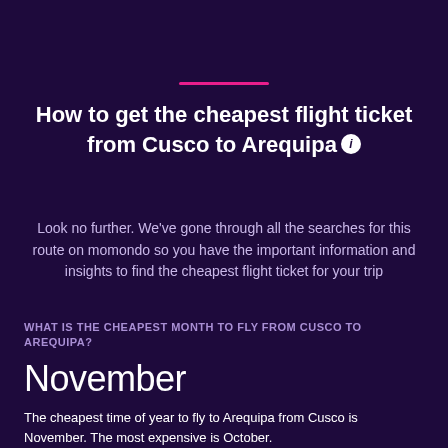How to get the cheapest flight ticket from Cusco to Arequipa
Look no further. We've gone through all the searches for this route on momondo so you have the important information and insights to find the cheapest flight ticket for your trip
WHAT IS THE CHEAPEST MONTH TO FLY FROM CUSCO TO AREQUIPA?
November
The cheapest time of year to fly to Arequipa from Cusco is November. The most expensive is October.